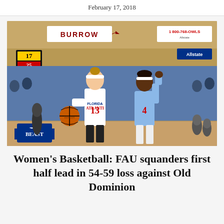February 17, 2018
[Figure (photo): A Florida Atlantic University women's basketball player (#13) in white uniform dribbling past an Old Dominion defender (#4) in a light blue uniform, inside an indoor gymnasium with BURROW and other signage visible in the background.]
Women's Basketball: FAU squanders first half lead in 54-59 loss against Old Dominion